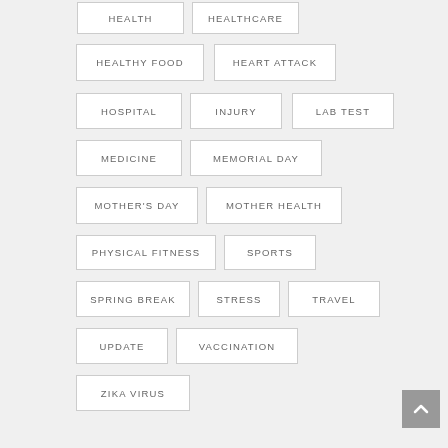HEALTH
HEALTHCARE
HEALTHY FOOD
HEART ATTACK
HOSPITAL
INJURY
LAB TEST
MEDICINE
MEMORIAL DAY
MOTHER'S DAY
MOTHER HEALTH
PHYSICAL FITNESS
SPORTS
SPRING BREAK
STRESS
TRAVEL
UPDATE
VACCINATION
ZIKA VIRUS